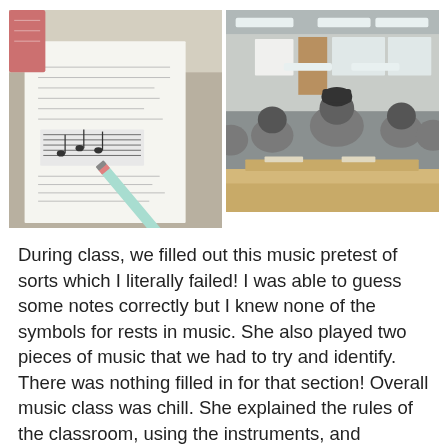[Figure (photo): Two photos side by side: left photo shows a music worksheet/test paper with a pencil resting on it on a desk; right photo shows the back of students sitting in a classroom with fluorescent ceiling lights and a projector screen at the front.]
During class, we filled out this music pretest of sorts which I literally failed! I was able to guess some notes correctly but I knew none of the symbols for rests in music. She also played two pieces of music that we had to try and identify. There was nothing filled in for that section! Overall music class was chill. She explained the rules of the classroom, using the instruments, and practice room etiquette. At one point she warned the boys from doing any roughhousing near the ceiling speakers because they would break. She called them out;